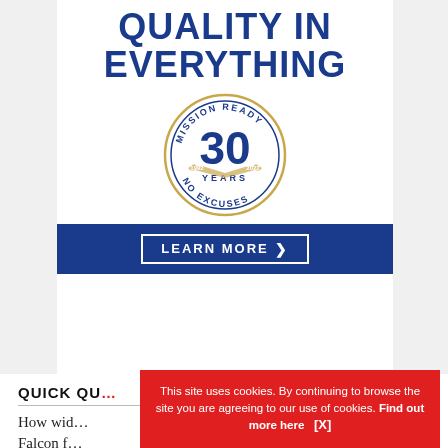[Figure (illustration): Advertisement banner: 'QUALITY IN EVERYTHING' in bold blue text, with a circular '30 Years Mission Ready No Excuses 1992-2022' badge, and a blue 'LEARN MORE' button bar at the bottom.]
QUICK QU...
How wid... Falcon f...
This site uses cookies. By continuing to browse the site you are agreeing to our use of cookies. Find out more here   [X]